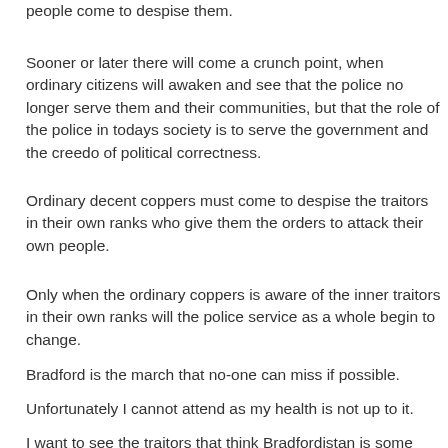people come to despise them.
Sooner or later there will come a crunch point, when ordinary citizens will awaken and see that the police no longer serve them and their communities, but that the role of the police in todays society is to serve the government and the creedo of political correctness.
Ordinary decent coppers must come to despise the traitors in their own ranks who give them the orders to attack their own people.
Only when the ordinary coppers is aware of the inner traitors in their own ranks will the police service as a whole begin to change.
Bradford is the march that no-one can miss if possible.
Unfortunately I cannot attend as my health is not up to it.
I want to see the traitors that think Bradfordistan is some independent republic in Britain have this foolishness rubbed